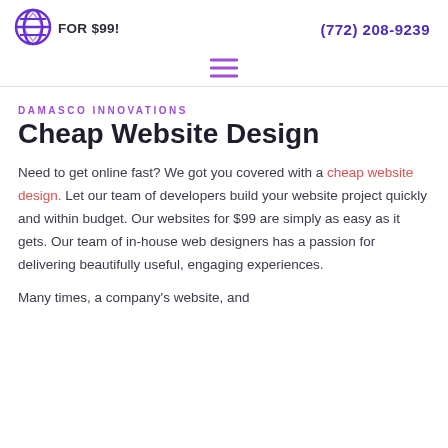FOR $99! (772) 208-9239
[Figure (logo): Purple globe/diamond icon]
DAMASCO INNOVATIONS
Cheap Website Design
Need to get online fast? We got you covered with a cheap website design. Let our team of developers build your website project quickly and within budget. Our websites for $99 are simply as easy as it gets. Our team of in-house web designers has a passion for delivering beautifully useful, engaging experiences.
Many times, a company's website, and